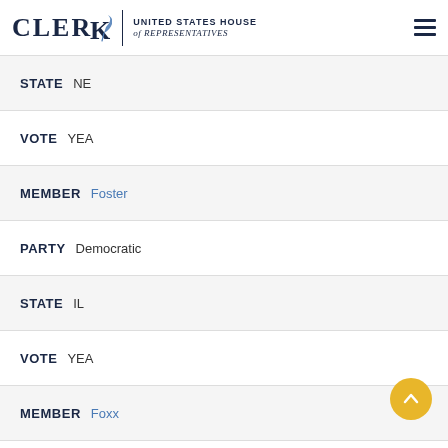CLERK | UNITED STATES HOUSE of REPRESENTATIVES
STATE NE
VOTE YEA
MEMBER Foster
PARTY Democratic
STATE IL
VOTE YEA
MEMBER Foxx
PARTY Republican